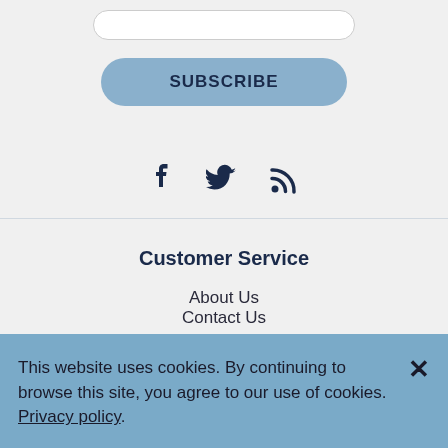[Figure (other): Subscribe button with rounded pill shape in muted blue]
[Figure (other): Social media icons: Facebook, Twitter, RSS feed in dark navy]
Customer Service
About Us
Contact Us
This website uses cookies. By continuing to browse this site, you agree to our use of cookies. Privacy policy.